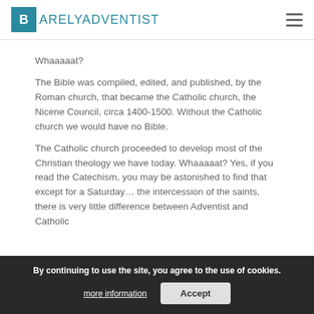BARELYADVENTIST
Whaaaaat?
The Bible was compiled, edited, and published, by the Roman church, that became the Catholic church, the Nicene Council, circa 1400-1500. Without the Catholic church we would have no Bible.
The Catholic church proceeded to develop most of the Christian theology we have today. Whaaaaat? Yes, if you read the Catechism, you may be astonished to find that except for a Saturday... the intercession of the saints, there is very little difference between Adventist and Catholic
By continuing to use the site, you agree to the use of cookies.